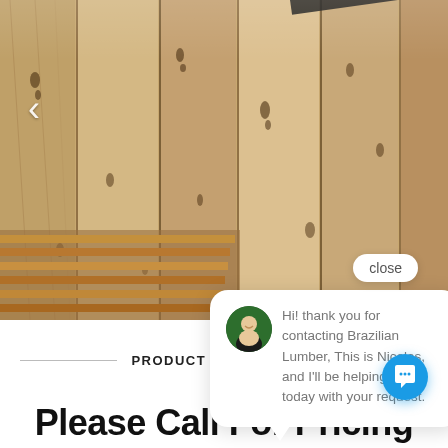[Figure (photo): Close-up photo of stacked wooden lumber planks showing natural wood grain texture in warm brown tones with a left navigation arrow overlay]
close
Hi! thank you for contacting Brazilian Lumber, This is Nicolas, and I'll be helping you today with your request.
PRODUCT DESCRIPTION
Please Call For Pricing